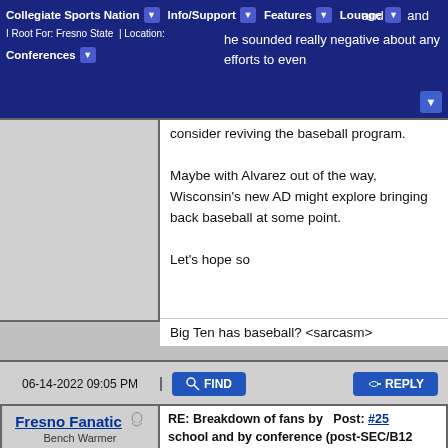Collegiate Sports Nation | Info/Support | Features | Lounge | Conferences
consider reviving the baseball program.

Maybe with Alvarez out of the way, Wisconsin's new AD might explore bringing back baseball at some point.

Let's hope so
Big Ten has baseball? <sarcasm>
06-14-2022 09:05 PM
Fresno Fanatic
Bench Warmer
Posts: 164
Joined: Apr 2021
Reputation: 18
I Root For: Fresno State, MWC, MAC
RE: Breakdown of fans by school and by conference (post-SEC/B12 realignment). Post: #25
(06-14-2022 08:24 PM)
Realigned Wrote: ➡
Not sure this bodes well for the